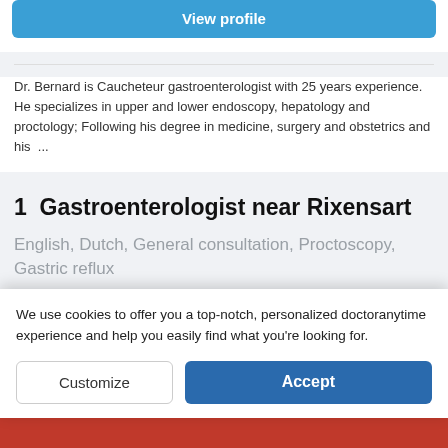[Figure (other): Blue 'View profile' button at the top of a doctor listing card]
Dr. Bernard is Caucheteur gastroenterologist with 25 years experience. He specializes in upper and lower endoscopy, hepatology and proctology; Following his degree in medicine, surgery and obstetrics and his ...
1  Gastroenterologist near Rixensart
English, Dutch, General consultation, Proctoscopy, Gastric reflux
Mohamed El Koulali
Gastroenterologist
9.7
We use cookies to offer you a top-notch, personalized doctoranytime experience and help you easily find what you're looking for.
Customize
Accept